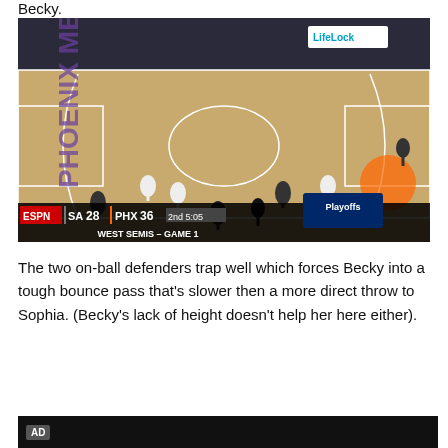Becky.
[Figure (photo): Basketball game screenshot showing Phoenix Mercury vs San Antonio on ESPN. Scoreboard shows SA 28, PHX 36, 2nd quarter 5:05. Text reads WEST SEMIS - GAME 1. Players on a hardwood court with Phoenix Mercury branding.]
The two on-ball defenders trap well which forces Becky into a tough bounce pass that's slower then a more direct throw to Sophia. (Becky's lack of height doesn't help her here either).
[Figure (screenshot): Black advertisement block with AD label]